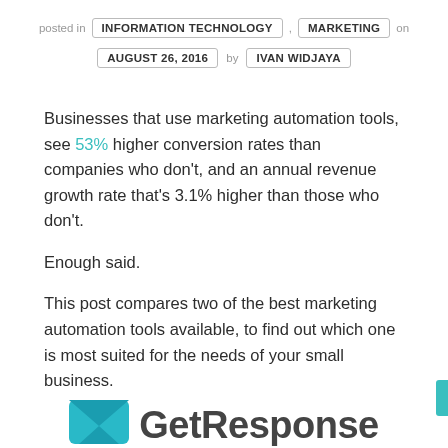posted in INFORMATION TECHNOLOGY , MARKETING on AUGUST 26, 2016 by IVAN WIDJAYA
Businesses that use marketing automation tools, see 53% higher conversion rates than companies who don't, and an annual revenue growth rate that's 3.1% higher than those who don't.
Enough said.
This post compares two of the best marketing automation tools available, to find out which one is most suited for the needs of your small business.
[Figure (logo): GetResponse logo with teal envelope icon and bold gray text]